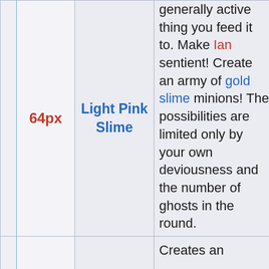|  | 64px | Light Pink Slime | Description | N/A |
| --- | --- | --- | --- | --- |
|  | 64px | Light Pink Slime | generally active thing you feed it to. Make Ian sentient! Create an army of gold slime minions! The possibilities are limited only by your own deviousness and the number of ghosts in the round. | N/A |
|  |  |  | Creates an |  |